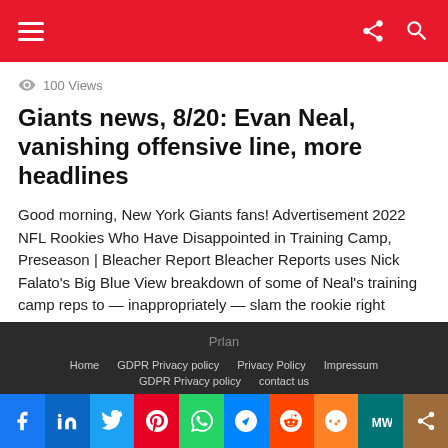Navigation header with hamburger menu and share/search icons
100 Views
Giants news, 8/20: Evan Neal, vanishing offensive line, more headlines
Good morning, New York Giants fans! Advertisement 2022 NFL Rookies Who Have Disappointed in Training Camp, Preseason | Bleacher Report Bleacher Reports uses Nick Falato's Big Blue View breakdown of some of Neal's training camp reps to — inappropriately — slam the rookie right tackle. Valentine's View: This is a classic case of a Writer [...] MORE
Prlan | Home | GDPR Privacy policy | Privacy Policy | Impressum | GDPR Privacy policy | contact us